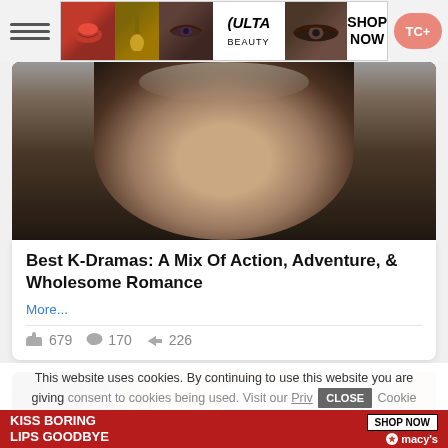[Figure (screenshot): ULTA Beauty advertisement banner with makeup images and SHOP NOW button]
[Figure (photo): Close-up photo of a woman's face for K-Drama article]
Best K-Dramas: A Mix Of Action, Adventure, & Wholesome Romance
More...
👍 679  💬 170  ➤ 226
[Figure (photo): Photo of people at an event with baseball caps]
This website uses cookies. By continuing to use this website you are giving consent to cookies being used. Visit our Priv... Cookie
[Figure (screenshot): Macy's advertisement: KISS BORING LIPS GOODBYE, SHOP NOW]